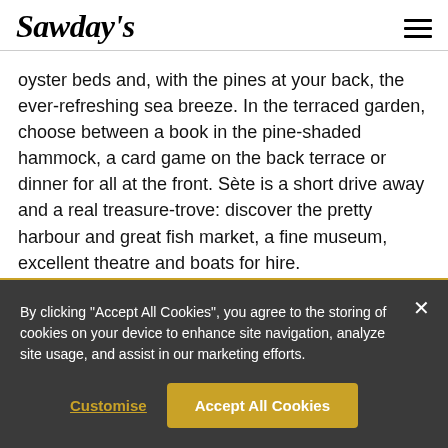Sawday's
oyster beds and, with the pines at your back, the ever-refreshing sea breeze. In the terraced garden, choose between a book in the pine-shaded hammock, a card game on the back terrace or dinner for all at the front. Sète is a short drive away and a real treasure-trove: discover the pretty harbour and great fish market, a fine museum, excellent theatre and boats for hire.
View place >
By clicking "Accept All Cookies", you agree to the storing of cookies on your device to enhance site navigation, analyze site usage, and assist in our marketing efforts.
Customise
Accept All Cookies